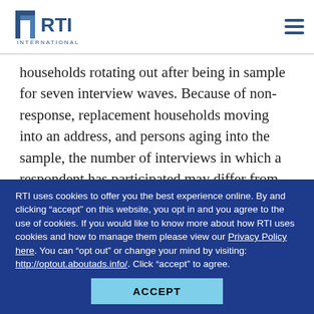RTI INTERNATIONAL [logo] [hamburger menu]
households rotating out after being in sample for seven interview waves. Because of non-response, replacement households moving into an address, and persons aging into the sample, the number of interviews in which a respondent has participated may differ from the TIS.
Figure 3 presents the theoretical constant rate of being a victim of violent crime along with the NCVS observed rate, across TIS. Because participation in the NCVS is not
RTI uses cookies to offer you the best experience online. By and clicking “accept” on this website, you opt in and you agree to the use of cookies. If you would like to know more about how RTI uses cookies and how to manage them please view our Privacy Policy here. You can “opt out” or change your mind by visiting: http://optout.aboutads.info/. Click “accept” to agree.